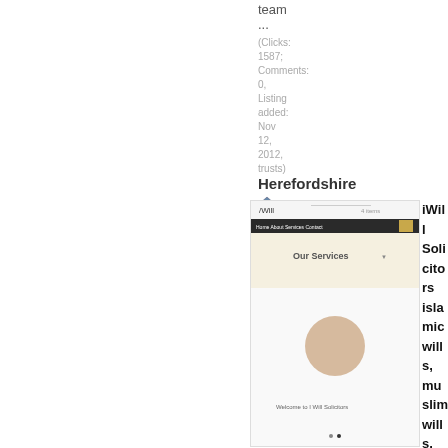team
...
(Clicks: 1587; Comments: 0, Listing added: Nov 12, 2012, trusts)
Herefordshire
gabb, gabbs llp, gabbs, solicitors, hereford
http://gabbs.biz/
[Figure (screenshot): Screenshot of iWill Solicitors website showing 'Our Services' section]
iWill Solicitors islamic wills, muslim wills,